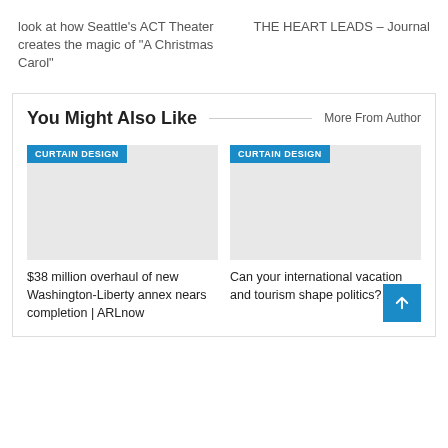look at how Seattle's ACT Theater creates the magic of “A Christmas Carol”
THE HEART LEADS – Journal
You Might Also Like
More From Author
[Figure (other): Gray placeholder image with blue CURTAIN DESIGN tag]
$38 million overhaul of new Washington-Liberty annex nears completion | ARLnow
[Figure (other): Gray placeholder image with blue CURTAIN DESIGN tag]
Can your international vacation and tourism shape politics?